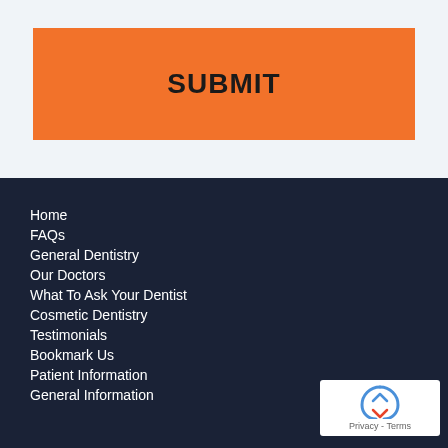SUBMIT
Home
FAQs
General Dentistry
Our Doctors
What To Ask Your Dentist
Cosmetic Dentistry
Testimonials
Bookmark Us
Patient Information
General Information